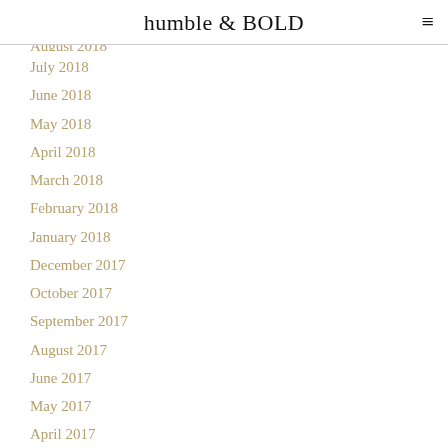humble & BOLD
July 2018
June 2018
May 2018
April 2018
March 2018
February 2018
January 2018
December 2017
October 2017
September 2017
August 2017
June 2017
May 2017
April 2017
March 2017
February 2017